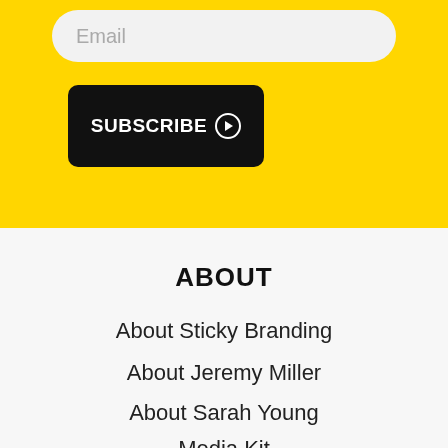[Figure (screenshot): Email input field with rounded corners on yellow background]
[Figure (screenshot): Black SUBSCRIBE button with right-arrow circle icon on yellow background]
ABOUT
About Sticky Branding
About Jeremy Miller
About Sarah Young
Media Kit